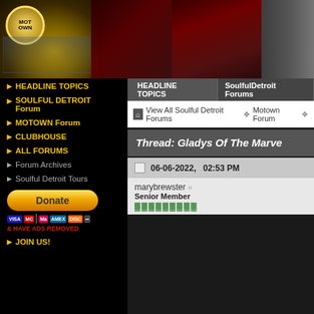[Figure (photo): Motown website header banner with logo, dancing singer silhouette, singing performer close-up, and guitarist]
HEADLINE TOPICS
SOULFUL DETROIT Forum
MOTOWN Forum
CLUBHOUSE
ALL FORUMS
Forum Archives
Soulful Detroit Tours
[Figure (other): Donate button with PayPal styling and payment card icons (Visa, Mastercard, Maestro, Amex, Discover) with text & HAVE ADS REMOVED]
JOIN US!
HEADLINE TOPICS | SoulfulDetroit Forums
View All Soulful Detroit Forums > Motown Forum >
Thread: Gladys Of The Marve
06-06-2022,   02:53 PM
marybrewster
Senior Member